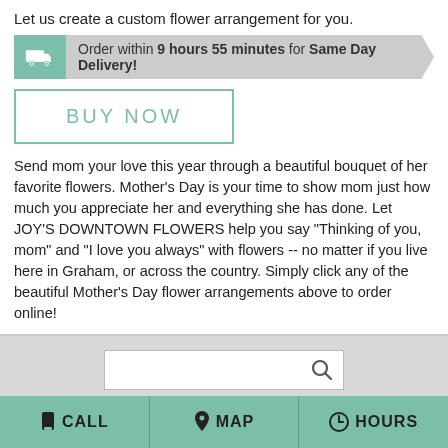Let us create a custom flower arrangement for you.
Order within 9 hours 55 minutes for Same Day Delivery!
BUY NOW
Send mom your love this year through a beautiful bouquet of her favorite flowers. Mother's Day is your time to show mom just how much you appreciate her and everything she has done. Let JOY'S DOWNTOWN FLOWERS help you say "Thinking of you, mom" and "I love you always" with flowers -- no matter if you live here in Graham, or across the country. Simply click any of the beautiful Mother's Day flower arrangements above to order online!
CALL
MAP
HOURS